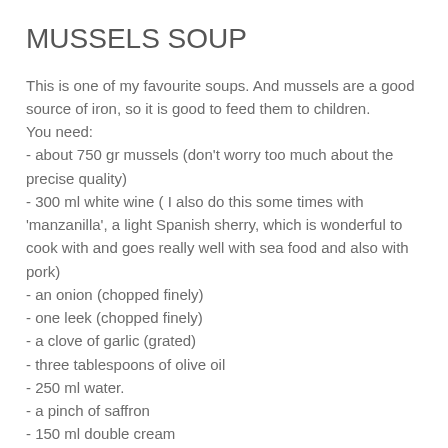MUSSELS SOUP
This is one of my favourite soups. And mussels are a good source of iron, so it is good to feed them to children. You need:
- about 750 gr mussels (don't worry too much about the precise quality)
- 300 ml white wine ( I also do this some times with 'manzanilla', a light Spanish sherry, which is wonderful to cook with and goes really well with sea food and also with pork)
- an onion (chopped finely)
- one leek (chopped finely)
- a clove of garlic (grated)
- three tablespoons of olive oil
- 250 ml water.
- a pinch of saffron
- 150 ml double cream
- a pinch of parsley